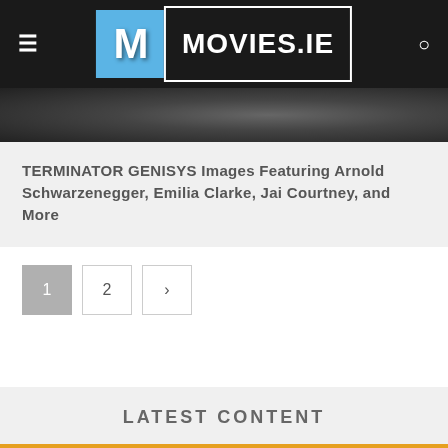[Figure (screenshot): Movies.ie website header/navbar with hamburger menu, logo (blue M icon + MOVIES.IE text on dark background), and search icon]
[Figure (photo): Terminator Genisys movie still image showing metallic robotic/mechanical elements in dark tones]
TERMINATOR GENISYS Images Featuring Arnold Schwarzenegger, Emilia Clarke, Jai Courtney, and More
Pagination: page 1 (active), page 2, next arrow
LATEST CONTENT